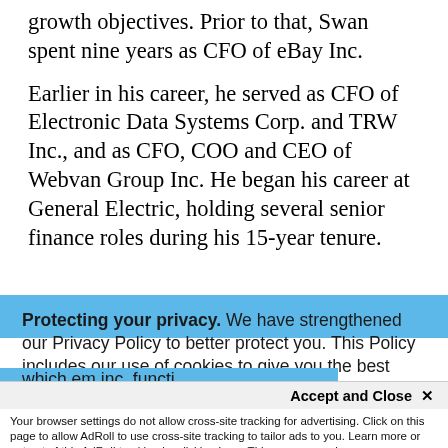growth objectives. Prior to that, Swan spent nine years as CFO of eBay Inc.
Earlier in his career, he served as CFO of Electronic Data Systems Corp. and TRW Inc., and as CFO, COO and CEO of Webvan Group Inc. He began his career at General Electric, holding several senior finance roles during his 15-year tenure.
Protecting your privacy. We have strengthened our Privacy Policy to better protect you. This Policy includes our use of cookies to give you the best online experience and provide functionality essential to our services. By clicking 'Close' or by continuing to use our website, you are consenting to our
Accept and Close ×
Your browser settings do not allow cross-site tracking for advertising. Click on this page to allow AdRoll to use cross-site tracking to tailor ads to you. Learn more or opt out of this AdRoll tracking by clicking here. This message only appears once.